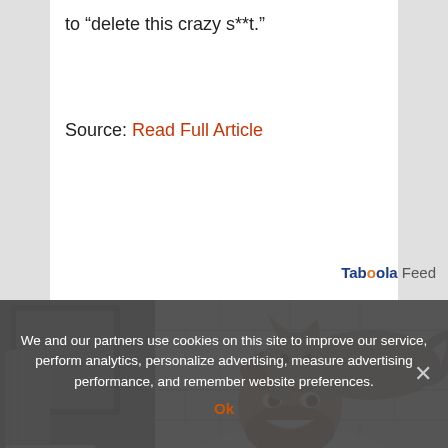to “delete this crazy s**t.”
Source: Read Full Article
[Figure (logo): Taboola Feed logo in top right of white content area]
[Figure (photo): A smiling bearded man in a white t-shirt in a bathroom with white subway tiles, with a tabby cat perched on his head/shoulder looking down at him. A mirror and gray towel visible in background.]
We and our partners use cookies on this site to improve our service, perform analytics, personalize advertising, measure advertising performance, and remember website preferences.
Ok